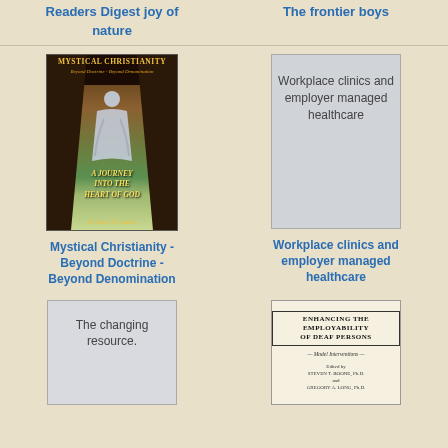Readers Digest joy of nature
The frontier boys
[Figure (illustration): Book cover for Mystical Christianity - Beyond Doctrine - Beyond Denomination by Joseph B. Lumpkin, showing a figure in robes standing in a cave opening with landscape behind]
[Figure (illustration): Book cover placeholder for Workplace clinics and employer managed healthcare with gray background]
Mystical Christianity - Beyond Doctrine - Beyond Denomination
Workplace clinics and employer managed healthcare
[Figure (illustration): Book cover placeholder for The changing resource with gray background]
[Figure (illustration): Book cover for Enhancing the Employability of Deaf Persons - Model Interventions, by Steven T. Boone, Ph.D. and Gregory A. Long, Ph.D.]